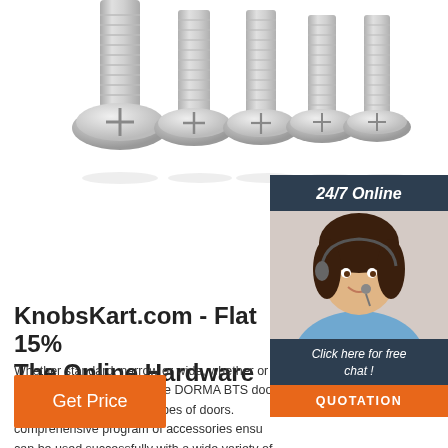[Figure (photo): Row of silver metal screws/bolts lined up, showing pan heads with Phillips drive, on white background]
[Figure (photo): Chat widget panel: dark navy background with '24/7 Online' header, photo of smiling woman with headset, 'Click here for free chat!' text, and orange QUOTATION button]
KnobsKart.com - Flat 15% The Online Hardware Sto
Whether standard, narrow or wide, whether or single or double-action – the DORMA BTS door spring is designed for all types of doors. comprehensive program of accessories ens can be used successfully with a wide variety of door constructions and floor coverings.
[Figure (other): Orange 'Get Price' button]